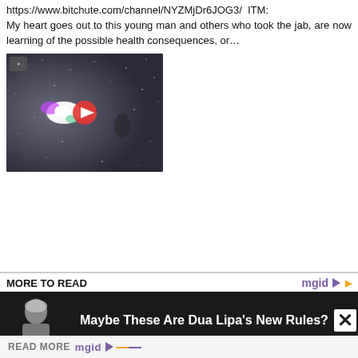https://www.bitchute.com/channel/NYZMjDr6JOG3/  ITM:
My heart goes out to this young man and others who took the jab, are now learning of the possible health consequences, or…
[Figure (screenshot): Video thumbnail showing a dark space-like background with a glowing white and purple/green light object and a red play button in the center]
MORE TO READ
[Figure (screenshot): Article card with a black and white photo of a blonde woman and the headline 'Maybe These Are Dua Lipa's New Rules?']
[Figure (screenshot): Two bottom thumbnails - left shows a dark concert/stage image, right shows a red-toned image]